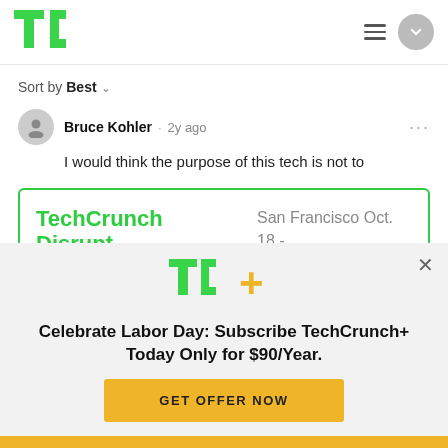TechCrunch logo, hamburger menu, chevron circle
Sort by Best
Bruce Kohler · 2y ago
I would think the purpose of this tech is not to
TechCrunch Disrupt — San Francisco Oct. 18 - 21
[Figure (logo): TC+ logo in green and yellow]
Celebrate Labor Day: Subscribe TechCrunch+ Today Only for $90/Year.
GET OFFER NOW